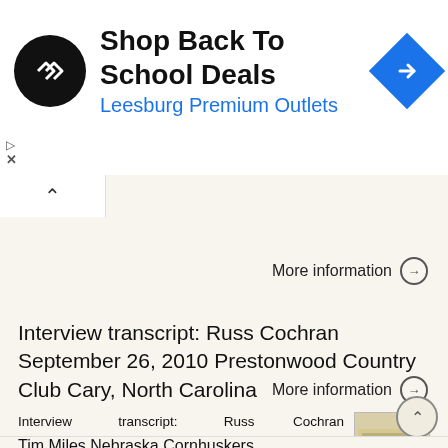[Figure (screenshot): Ad banner: Shop Back To School Deals at Leesburg Premium Outlets, with black circular logo and blue diamond navigation icon]
More information →
Interview transcript: Russ Cochran September 26, 2010 Prestonwood Country Club Cary, North Carolina
Interview transcript: Russ Cochran September 26, 2010 Prestonwood Country Club Cary, North Carolina MODERATOR: Okay. Russ Cochran shoots a final round 71. And I know it was a battle out there, but you
More information →
Tim Miles Nebraska Cornhuskers